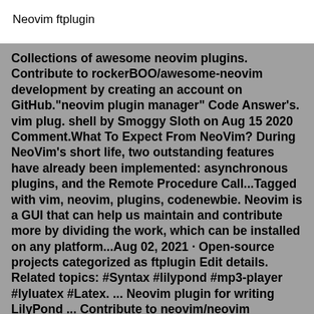Neovim ftplugin
Collections of awesome neovim plugins. Contribute to rockerBOO/awesome-neovim development by creating an account on GitHub."neovim plugin manager" Code Answer's. vim plug. shell by Smoggy Sloth on Aug 15 2020 Comment.What To Expect From NeoVim? During NeoVim's short life, two outstanding features have already been implemented: asynchronous plugins, and the Remote Procedure Call...Tagged with vim, neovim, plugins, codenewbie. Neovim is a GUI that can help us maintain and contribute more by dividing the work, which can be installed on any platform...Aug 02, 2021 · Open-source projects categorized as ftplugin Edit details. Related topics: #Syntax #lilypond #mp3-player #lyluatex #Latex. ... Neovim plugin for writing LilyPond ... Contribute to neovim/neovim development by creating an account on